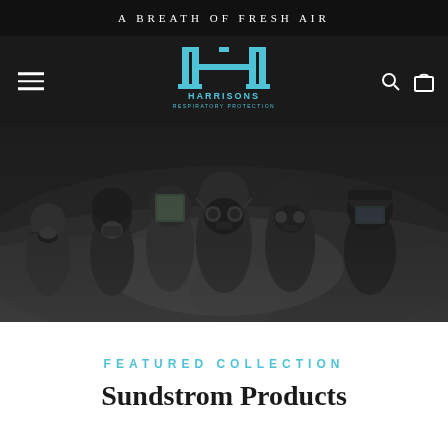A BREATH OF FRESH AIR
[Figure (logo): Harrisons Respiratory Protection logo — stylized H in cyan/blue with company name below]
[Figure (photo): Five people wearing various respiratory protection masks and helmets, dramatic smoky dark background]
FEATURED COLLECTION
Sundstrom Products